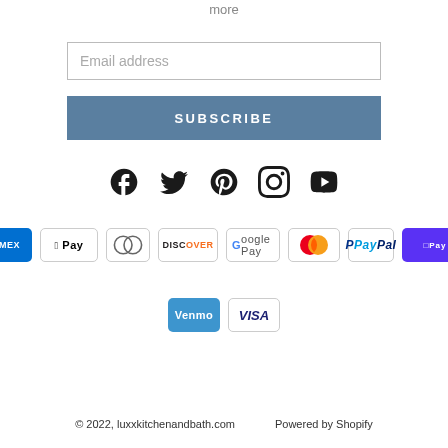more
Email address
SUBSCRIBE
[Figure (infographic): Social media icons: Facebook, Twitter, Pinterest, Instagram, YouTube]
[Figure (infographic): Payment method badges: American Express, Apple Pay, Diners Club, Discover, Google Pay, Mastercard, PayPal, Shopify Pay, Venmo, Visa]
© 2022, luxxkitchenandbath.com    Powered by Shopify